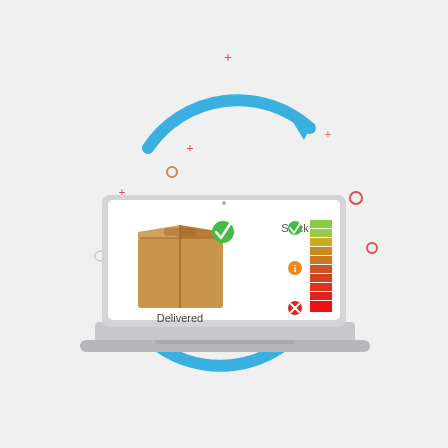[Figure (infographic): An illustration of a laptop computer with a circular blue arrow cycle around it. The laptop screen shows a brown cardboard box with a green checkmark badge labeled 'Delivered' on the left side, and a stock level indicator bar on the right side labeled 'Stock' with green, orange, and red sections with corresponding colored circle icons. Decorative colored plus signs and circle symbols are scattered around the circular arrows in red, green, and orange.]